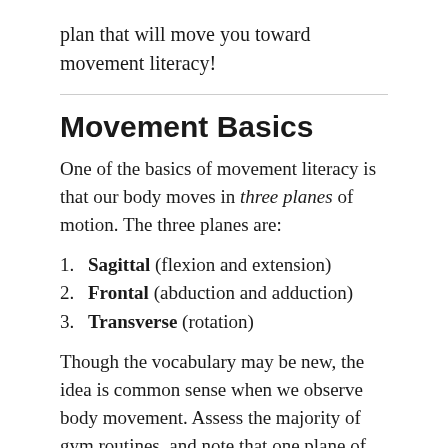plan that will move you toward movement literacy!
Movement Basics
One of the basics of movement literacy is that our body moves in three planes of motion. The three planes are:
1. Sagittal (flexion and extension)
2. Frontal (abduction and adduction)
3. Transverse (rotation)
Though the vocabulary may be new, the idea is common sense when we observe body movement. Assess the majority of gym routines, and note that one plane of